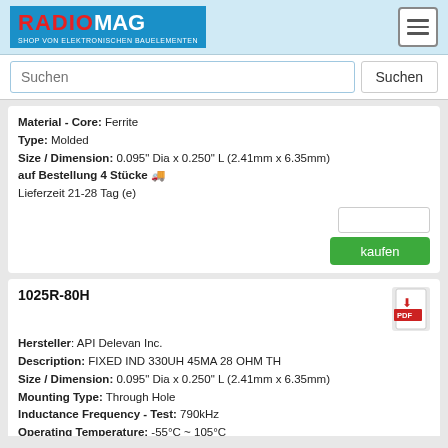RADIOMAG - SHOP VON ELEKTRONISCHEN BAUELEMENTEN
Material - Core: Ferrite
Type: Molded
Size / Dimension: 0.095" Dia x 0.250" L (2.41mm x 6.35mm)
auf Bestellung 4 Stücke
Lieferzeit 21-28 Tag (e)
1025R-80H
Hersteller: API Delevan Inc.
Description: FIXED IND 330UH 45MA 28 OHM TH
Size / Dimension: 0.095" Dia x 0.250" L (2.41mm x 6.35mm)
Mounting Type: Through Hole
Inductance Frequency - Test: 790kHz
Operating Temperature: -55°C ~ 105°C
Frequency - Self Resonant: 7MHz
Q @ Freq: 30 @ 790kHz
DC Resistance (DCR): 28Ohm Max